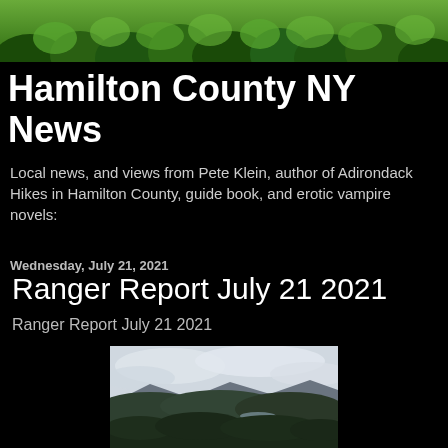[Figure (photo): Forest canopy with green trees, narrow panoramic banner at top of page]
Hamilton County NY News
Local news, and views from Pete Klein, author of Adirondack Hikes in Hamilton County, guide book, and erotic vampire novels:
Wednesday, July 21, 2021
Ranger Report July 21 2021
Ranger Report July 21 2021
[Figure (photo): Aerial landscape photo showing forested hills, mountains in background, overcast sky, with a glimpse of a lake or river in the valley]